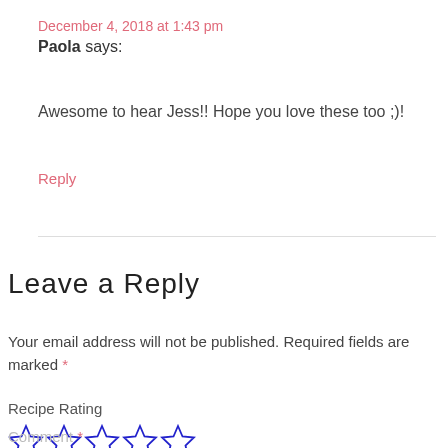December 4, 2018 at 1:43 pm
Paola says:
Awesome to hear Jess!! Hope you love these too ;)!
Reply
Leave a Reply
Your email address will not be published. Required fields are marked *
Recipe Rating
[Figure (other): Five empty star rating icons in blue outline style]
Comment *